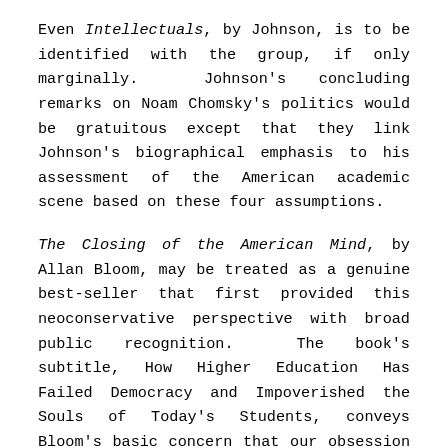Even Intellectuals, by Johnson, is to be identified with the group, if only marginally. Johnson's concluding remarks on Noam Chomsky's politics would be gratuitous except that they link Johnson's biographical emphasis to his assessment of the American academic scene based on these four assumptions.
The Closing of the American Mind, by Allan Bloom, may be treated as a genuine best-seller that first provided this neoconservative perspective with broad public recognition. The book's subtitle, How Higher Education Has Failed Democracy and Impoverished the Souls of Today's Students, conveys Bloom's basic concern that our obsession with openmindedness has paradoxically led to the closing of the American mind because we have deprived ourselves of the ability to think critically. Bloom shamelessly advocates maintaining the university as an